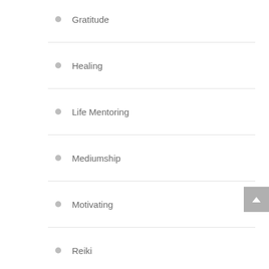Gratitude
Healing
Life Mentoring
Mediumship
Motivating
Reiki
Reliable
Spiritual
Uncategorized
Yoga